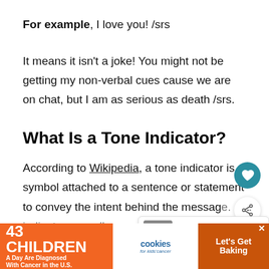For example, I love you! /srs
It means it isn't a joke! You might not be getting my non-verbal cues cause we are on chat, but I am as serious as death /srs.
What Is a Tone Indicator?
According to Wikipedia, a tone indicator is a symbol attached to a sentence or statement to convey the intent behind the message. indicators usually come at the end of the se...
[Figure (other): Advertisement banner at bottom: '43 CHILDREN A Day Are Diagnosed With Cancer in the U.S.' / cookies for kids cancer / 'Let's Get Baking']